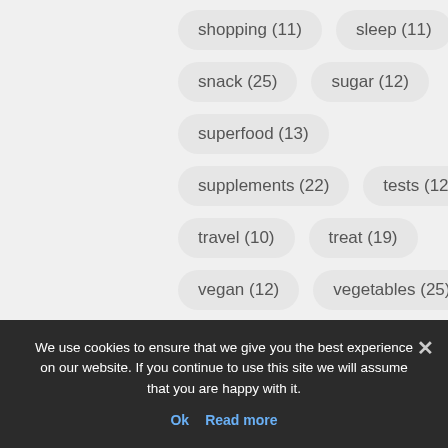shopping (11)
sleep (11)
snack (25)
sugar (12)
superfood (13)
supplements (22)
tests (12)
travel (10)
treat (19)
vegan (12)
vegetables (25)
weight loss (77)
workout (52)
We use cookies to ensure that we give you the best experience on our website. If you continue to use this site we will assume that you are happy with it.
Ok  Read more